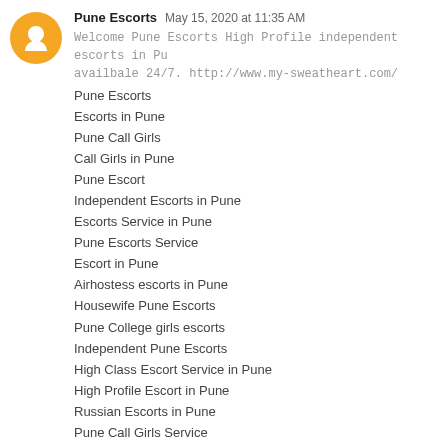Pune Escorts  May 15, 2020 at 11:35 AM
Welcome Pune Escorts High Profile independent escorts in Pu... availbale 24/7. http://www.my-sweatheart.com/
Pune Escorts
Escorts in Pune
Pune Call Girls
Call Girls in Pune
Pune Escort
Independent Escorts in Pune
Escorts Service in Pune
Pune Escorts Service
Escort in Pune
Airhostess escorts in Pune
Housewife Pune Escorts
Pune College girls escorts
Independent Pune Escorts
High Class Escort Service in Pune
High Profile Escort in Pune
Russian Escorts in Pune
Pune Call Girls Service
Pune High Class Call Girls
Pune Escort Service
Nude Model In Pune
Pune Airhostess Escorts
Pune College Girl Escorts